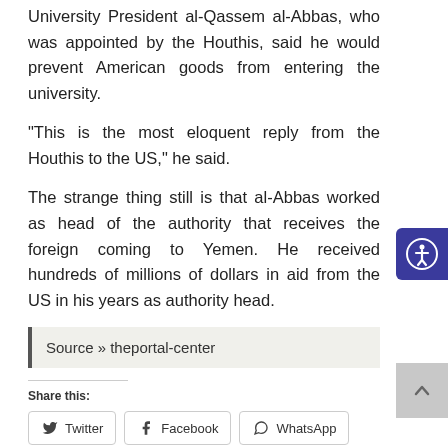University President al-Qassem al-Abbas, who was appointed by the Houthis, said he would prevent American goods from entering the university.
“This is the most eloquent reply from the Houthis to the US,” he said.
The strange thing still is that al-Abbas worked as head of the authority that receives the foreign coming to Yemen. He received hundreds of millions of dollars in aid from the US in his years as authority head.
Source » theportal-center
Share this:
Twitter   Facebook   WhatsApp   More